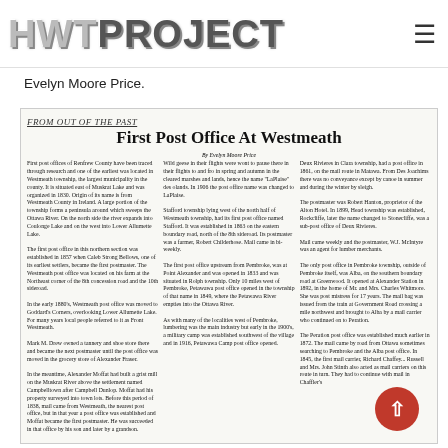HWTPROJECT
Evelyn Moore Price.
[Figure (screenshot): Scanned newspaper article titled 'First Post Office At Westmeath' by Evelyn Moore Price, showing a multi-column newspaper clipping on a light background, with 'FROM OUT OF THE PAST' as section header.]
FROM OUT OF THE PAST
First Post Office At Westmeath
By Evelyn Moore Price
Multi-column newspaper article about the history of post offices in Westmeath and surrounding areas including Pembroke, Deux Rivieres, Clara township, and Petawawa.